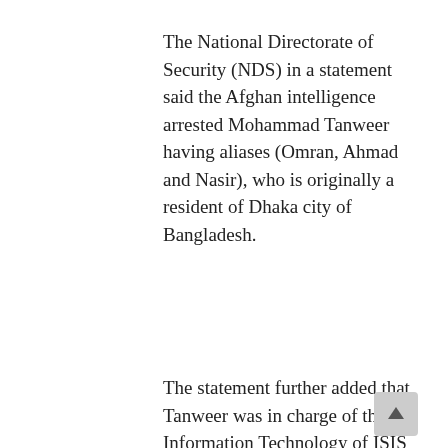The National Directorate of Security (NDS) in a statement said the Afghan intelligence arrested Mohammad Tanweer having aliases (Omran, Ahmad and Nasir), who is originally a resident of Dhaka city of Bangladesh.
The statement further added that Tanweer was in charge of the Information Technology of ISIS